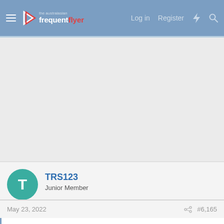the australasian frequent flyer — Log in  Register
[Figure (screenshot): Large light gray blank area representing main page content]
TRS123
Junior Member
May 23, 2022   #6,165